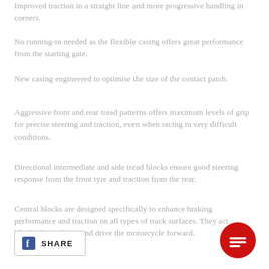Improved traction in a straight line and more progressive handling in corners.
No running-in needed as the flexible casing offers great performance from the starting gate.
New casing engineered to optimise the size of the contact patch.
Aggressive front and rear tread patterns offers maximum levels of grip for precise steering and traction, even when racing in very difficult conditions.
Directional intermediate and side tread blocks ensure good steering response from the front tyre and traction from the rear.
Central blocks are designed specifically to enhance braking performance and traction on all types of track surfaces. They act like hooks to dig-in and drive the motorcycle forward.
[Figure (other): Red circular chat/message button in the bottom right corner]
[Figure (other): Facebook Share button with FB icon and SHARE text in the bottom left corner]